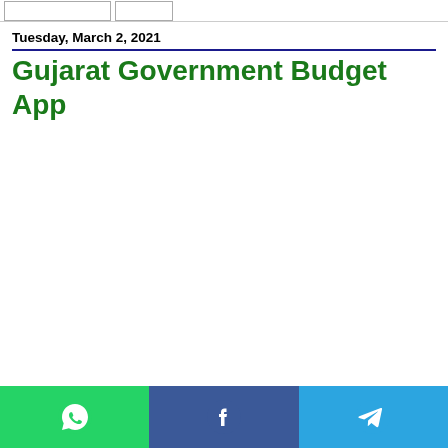Tuesday, March 2, 2021
Gujarat Government Budget App
[Figure (infographic): Share bar with WhatsApp, Facebook, and Telegram icons at the bottom of the page]